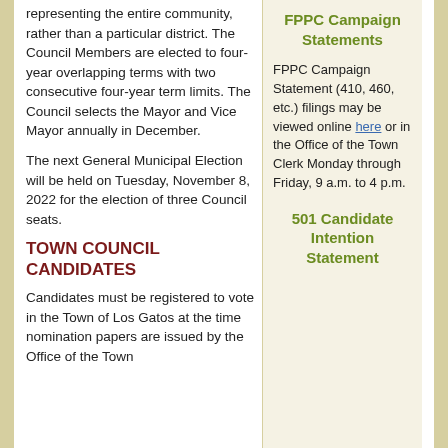representing the entire community, rather than a particular district. The Council Members are elected to four-year overlapping terms with two consecutive four-year term limits. The Council selects the Mayor and Vice Mayor annually in December.
The next General Municipal Election will be held on Tuesday, November 8, 2022 for the election of three Council seats.
TOWN COUNCIL CANDIDATES
Candidates must be registered to vote in the Town of Los Gatos at the time nomination papers are issued by the Office of the Town
FPPC Campaign Statements
FPPC Campaign Statement (410, 460, etc.) filings may be viewed online here or in the Office of the Town Clerk Monday through Friday, 9 a.m. to 4 p.m.
501 Candidate Intention Statement